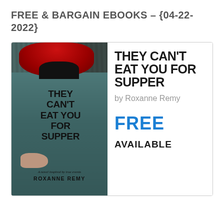FREE & BARGAIN EBOOKS – {04-22-2022}
[Figure (illustration): Book cover for 'They Can't Eat You For Supper' by Roxanne Remy, showing a woman with red hair wearing a teal apron with the book title printed on it, standing in front of a wooden background.]
THEY CAN'T EAT YOU FOR SUPPER
by Roxanne Remy
FREE
AVAILABLE